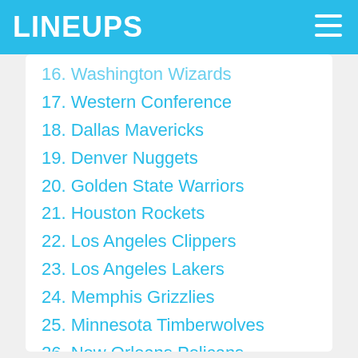LINEUPS
16. Washington Wizards
17. Western Conference
18. Dallas Mavericks
19. Denver Nuggets
20. Golden State Warriors
21. Houston Rockets
22. Los Angeles Clippers
23. Los Angeles Lakers
24. Memphis Grizzlies
25. Minnesota Timberwolves
26. New Orleans Pelicans
27. Oklahoma City Thunder
28. Phoenix Suns
29. Portland Trail Blazers
30. Sacramento Kings
31. San Antonio Spurs
32. Utah Jazz